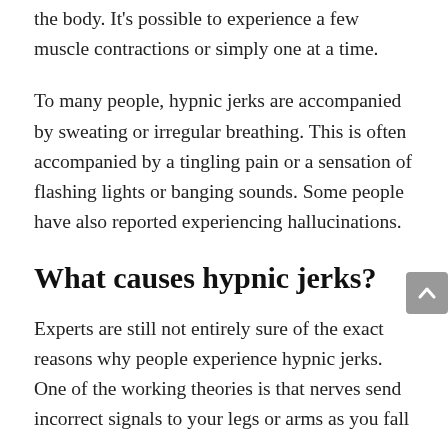the body. It's possible to experience a few muscle contractions or simply one at a time.
To many people, hypnic jerks are accompanied by sweating or irregular breathing. This is often accompanied by a tingling pain or a sensation of flashing lights or banging sounds. Some people have also reported experiencing hallucinations.
What causes hypnic jerks?
Experts are still not entirely sure of the exact reasons why people experience hypnic jerks. One of the working theories is that nerves send incorrect signals to your legs or arms as you fall